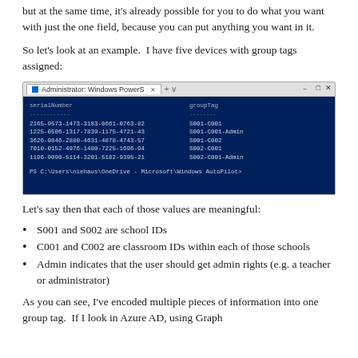but at the same time, it's already possible for you to do what you want with just the one field, because you can put anything you want in it.
So let's look at an example.  I have five devices with group tags assigned:
[Figure (screenshot): Windows PowerShell console showing serialNumber and groupTag columns with 5 device entries and their group tags (S001-C001, S001-C001-Admin, S001-C002, S002-C001, S002-C001-Admin)]
Let's say then that each of those values are meaningful:
S001 and S002 are school IDs
C001 and C002 are classroom IDs within each of those schools
Admin indicates that the user should get admin rights (e.g. a teacher or administrator)
As you can see, I've encoded multiple pieces of information into one group tag.  If I look in Azure AD, using Graph